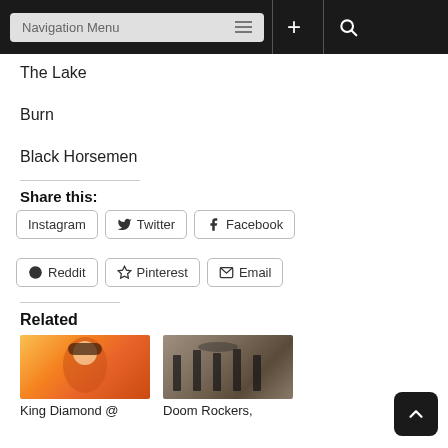Navigation Menu
The Lake
Burn
Black Horsemen
Share this:
Instagram  Twitter  Facebook  Reddit  Pinterest  Email
Related
King Diamond @
Doom Rockers,